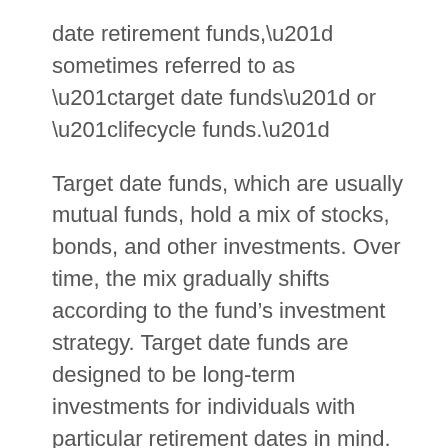date retirement funds,” sometimes referred to as “target date funds” or “lifecycle funds.”
Target date funds, which are usually mutual funds, hold a mix of stocks, bonds, and other investments. Over time, the mix gradually shifts according to the fund’s investment strategy. Target date funds are designed to be long-term investments for individuals with particular retirement dates in mind. The name of the fund often refers to its target date. For example, you might see funds with names like “Portfolio 2030,” “Retirement Fund 2030,” or “Target 2030” that are designed for individuals who intend to retire in or near the year 2030.  Most target date funds are designed so that the